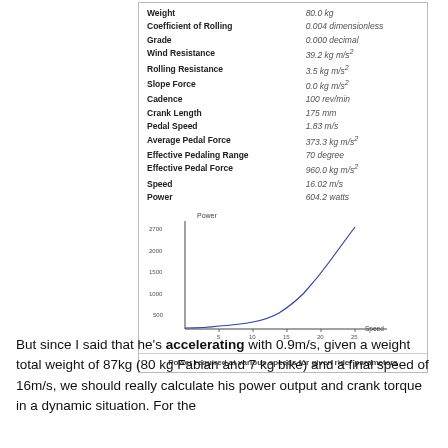| Parameter | Value |
| --- | --- |
| Weight | 80.0 kg |
| Coefficient of Rolling | 0.004 dimensionless |
| Grade | 0.000 decimal |
| Wind Resistance | 39.2 kg m/s² |
| Rolling Resistance | 3.5 kg m/s² |
| Slope Force | 0.0 kg m/s² |
| Cadence | 100 rev/min |
| Crank Length | 175 mm |
| Pedal Speed | 1.83 m/s |
| Average Pedal Force | 373.3 kg m/s² |
| Effective Pedaling Range | 70 degree |
| Effective Pedal Force | 960.0 kg m/s² |
| Speed | 16.02 m/s |
| Power | 604.2 watts |
[Figure (continuous-plot): Power vs Speed curve showing exponential-like growth from low power at low speed to ~2700 at speed ~25]
Power required at various speeds for given rider parameters
But since I said that he's accelerating with 0.9m/s, given a weight total weight of 87kg (80 kg Fabian and 7 kg bike) and a final speed of 16m/s, we should really calculate his power output and crank torque in a dynamic situation. For the